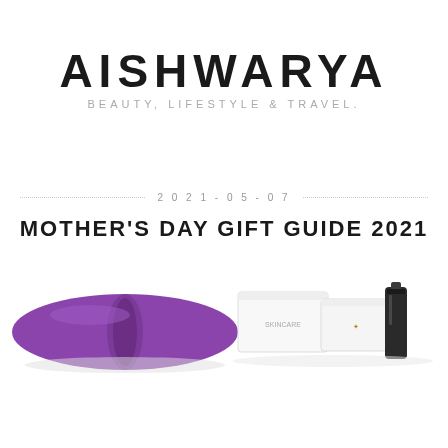AISHWARYA
BEAUTY, LIFESTYLE & TRAVEL.
2021-05-07
MOTHER'S DAY GIFT GUIDE 2021
[Figure (photo): Two product images: left shows a rolled purple yoga mat; right shows white skincare product boxes and a dark bottle arranged together.]